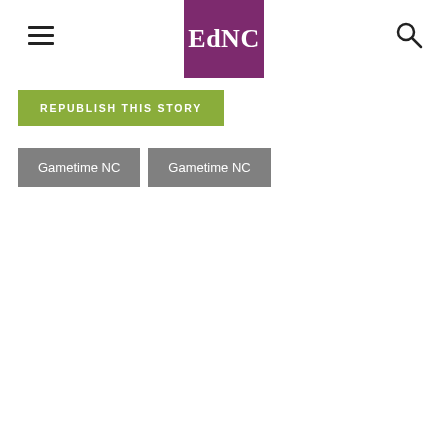EdNC
REPUBLISH THIS STORY
Gametime NC  Gametime NC